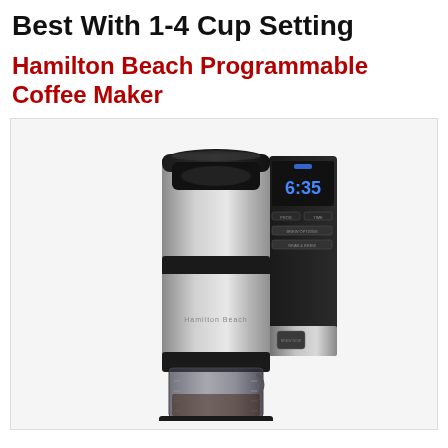Best With 1-4 Cup Setting
Hamilton Beach Programmable Coffee Maker
[Figure (photo): Hamilton Beach Programmable Coffee Maker - stainless steel and black coffee maker with digital display showing 6:35, brew options panel on the right side, and a glass carafe at the bottom]